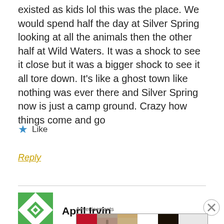existed as kids lol this was the place. We would spend half the day at Silver Spring looking at all the animals then the other half at Wild Waters. It was a shock to see it close but it was a bigger shock to see it all tore down. It's like a ghost town like nothing was ever there and Silver Spring now is just a camp ground. Crazy how things come and go
★ Like
Reply
April Irvin
[Figure (illustration): Green and white geometric avatar icon with diamond/star pattern]
[Figure (photo): Ulta Beauty advertisement banner showing makeup-related images: lips with lipstick, makeup brush, eye with eyeshadow, Ulta logo, and eye close-up, with SHOP NOW text]